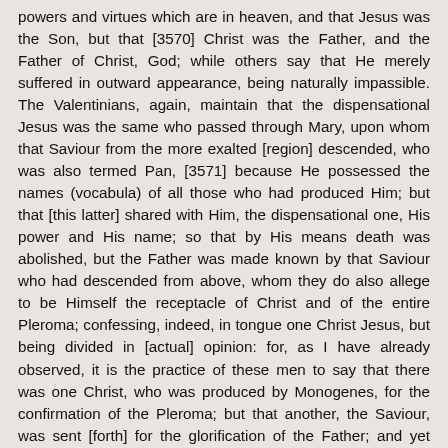powers and virtues which are in heaven, and that Jesus was the Son, but that [3570] Christ was the Father, and the Father of Christ, God; while others say that He merely suffered in outward appearance, being naturally impassible. The Valentinians, again, maintain that the dispensational Jesus was the same who passed through Mary, upon whom that Saviour from the more exalted [region] descended, who was also termed Pan, [3571] because He possessed the names (vocabula) of all those who had produced Him; but that [this latter] shared with Him, the dispensational one, His power and His name; so that by His means death was abolished, but the Father was made known by that Saviour who had descended from above, whom they do also allege to be Himself the receptacle of Christ and of the entire Pleroma; confessing, indeed, in tongue one Christ Jesus, but being divided in [actual] opinion: for, as I have already observed, it is the practice of these men to say that there was one Christ, who was produced by Monogenes, for the confirmation of the Pleroma; but that another, the Saviour, was sent [forth] for the glorification of the Father; and yet another, the dispensational one, and whom they represent as having suffered, who also bore [in himself] Christ, that Saviour who returned into the Pleroma. I judge it necessary therefore to take into account the entire mind of the apostles regarding our Lord Jesus Christ, and to show that not only